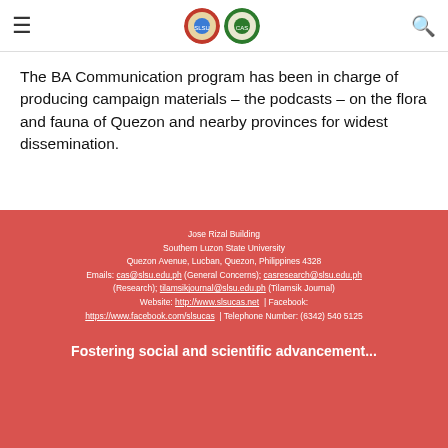[Navigation header with hamburger menu, two institutional logos, and search icon]
The BA Communication program has been in charge of producing campaign materials – the podcasts – on the flora and fauna of Quezon and nearby provinces for widest dissemination.
Jose Rizal Building
Southern Luzon State University
Quezon Avenue, Lucban, Quezon, Philippines 4328
Emails: cas@slsu.edu.ph (General Concerns); casresearch@slsu.edu.ph (Research); tilamsikjournal@slsu.edu.ph (Tilamsik Journal)
Website: http://www.slsucas.net | Facebook: https://www.facebook.com/slsucas | Telephone Number: (6342) 540 5125

Fostering social and scientific advancement...